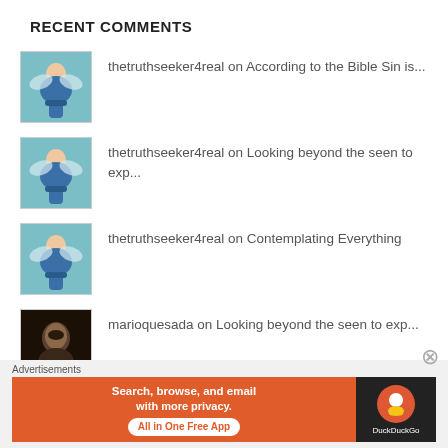RECENT COMMENTS
thetruthseeker4real on According to the Bible Sin is...
thetruthseeker4real on Looking beyond the seen to exp...
thetruthseeker4real on Contemplating Everything
marioquesada on Looking beyond the seen to exp...
thetruthseeker4real on It's not just about Jesu...
Advertisements
[Figure (screenshot): DuckDuckGo advertisement banner: orange section with 'Search, browse, and email with more privacy.' and 'All in One Free App' CTA button; dark section with DuckDuckGo logo]